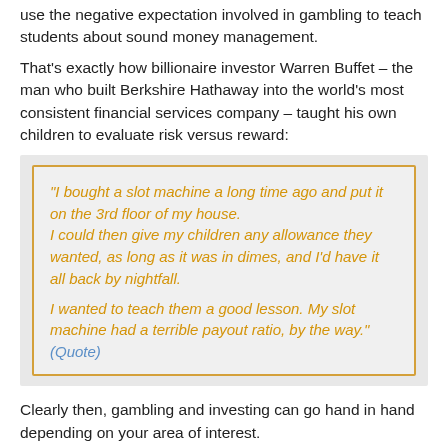use the negative expectation involved in gambling to teach students about sound money management.
That's exactly how billionaire investor Warren Buffet – the man who built Berkshire Hathaway into the world's most consistent financial services company – taught his own children to evaluate risk versus reward:
"I bought a slot machine a long time ago and put it on the 3rd floor of my house. I could then give my children any allowance they wanted, as long as it was in dimes, and I'd have it all back by nightfall.

I wanted to teach them a good lesson. My slot machine had a terrible payout ratio, by the way." (Quote)
Clearly then, gambling and investing can go hand in hand depending on your area of interest.
On that note, let's dive into three especially prevalent forms of investing – options trading, foreign exchange (Forex) markets, and the stock market – to see whether these economic engines really do